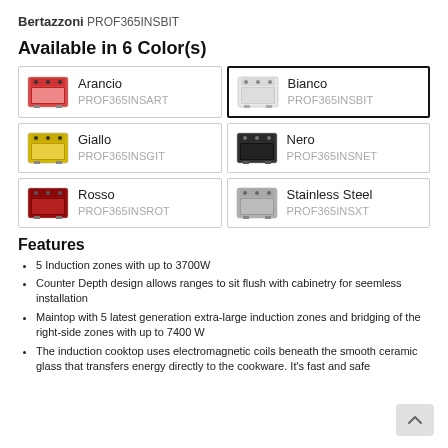Bertazzoni PROF365INSBIT
Available in 6 Color(s)
| Color Name | SKU |
| --- | --- |
| Arancio | PROF365INSART |
| Bianco | PROF365INSBIT |
| Giallo | PROF365INSGIT |
| Nero | PROF365INSNET |
| Rosso | PROF365INSROT |
| Stainless Steel | PROF365INSXT |
Features
5 Induction zones with up to 3700W
Counter Depth design allows ranges to sit flush with cabinetry for seemless installation
Maintop with 5 latest generation extra-large induction zones and bridging of the right-side zones with up to 7400 W
The induction cooktop uses electromagnetic coils beneath the smooth ceramic glass that transfers energy directly to the cookware. It's fast and safe